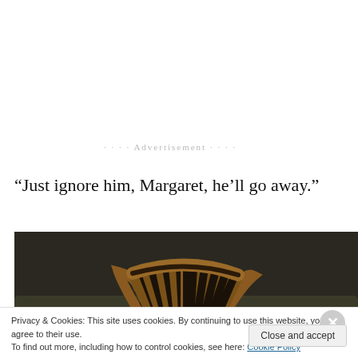Advertisement
“Just ignore him, Margaret, he’ll go away.”
[Figure (photo): A wild turkey displaying its fanned tail feathers, viewed from behind, standing in green grass with a blurred woodland background.]
Privacy & Cookies: This site uses cookies. By continuing to use this website, you agree to their use.
To find out more, including how to control cookies, see here: Cookie Policy
Close and accept